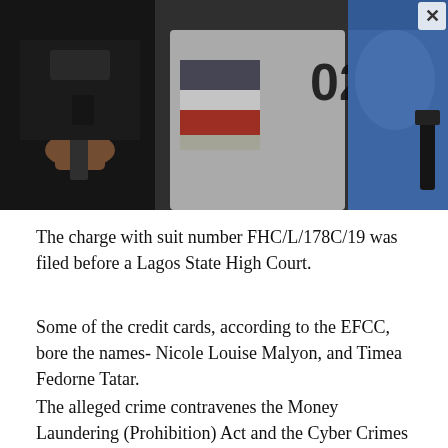[Figure (photo): Photo showing law enforcement officers holding firearms, with one person wearing a t-shirt with '02' printed on it. Officers appear to be in tactical gear.]
The charge with suit number FHC/L/178C/19 was filed before a Lagos State High Court.
Some of the credit cards, according to the EFCC, bore the names- Nicole Louise Malyon, and Timea Fedorne Tatar.
The alleged crime contravenes the Money Laundering (Prohibition) Act and the Cyber Crimes Act.